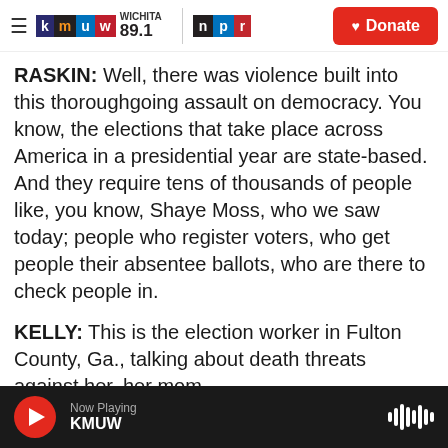KMUW Wichita 89.1 | NPR | Donate
RASKIN: Well, there was violence built into this thoroughgoing assault on democracy. You know, the elections that take place across America in a presidential year are state-based. And they require tens of thousands of people like, you know, Shaye Moss, who we saw today; people who register voters, who get people their absentee ballots, who are there to check people in.
KELLY: This is the election worker in Fulton County, Ga., talking about death threats against her, her mom.
RASKIN: I mean, you know, there were beside...
Now Playing KMUW